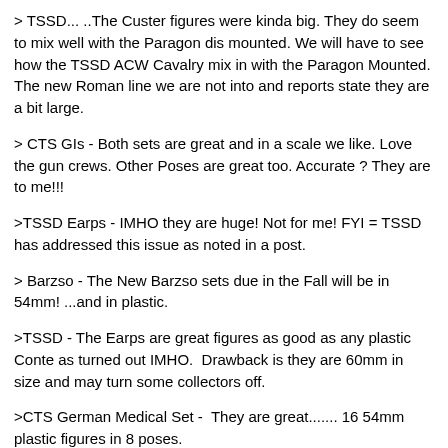> TSSD... ..The Custer figures were kinda big. They do seem to mix well with the Paragon dis mounted. We will have to see how the TSSD ACW Cavalry mix in with the Paragon Mounted. The new Roman line we are not into and reports state they are a bit large.
> CTS GIs - Both sets are great and in a scale we like. Love the gun crews. Other Poses are great too. Accurate ? They are to me!!!
>TSSD Earps - IMHO they are huge! Not for me! FYI = TSSD has addressed this issue as noted in a post.
> Barzso - The New Barzso sets due in the Fall will be in 54mm! ...and in plastic.
>TSSD - The Earps are great figures as good as any plastic Conte as turned out IMHO.  Drawback is they are 60mm in size and may turn some collectors off.
>CTS German Medical Set -  They are great....... 16 54mm plastic figures in 8 poses.